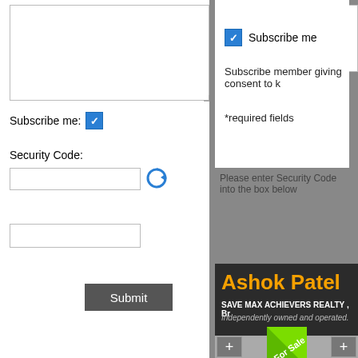[Figure (screenshot): Web form screenshot showing two panels. Left panel: text area, subscribe me checkbox, security code label with input field and refresh icon, captcha input, submit button. Right panel: subscribe me checkbox with label, consent text, required fields note, security code instruction, agent info banner with Ashok Patel / Save Max Achievers Realty, For Sale ribbon on property image strip.]